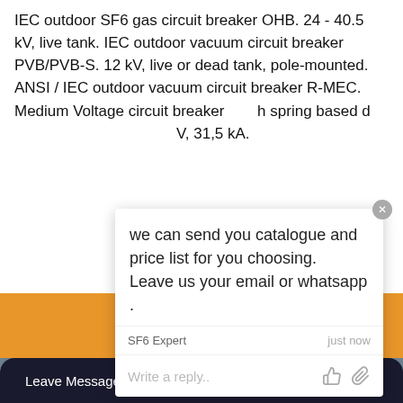IEC outdoor SF6 gas circuit breaker OHB. 24 - 40.5 kV, live tank. IEC outdoor vacuum circuit breaker PVB/PVB-S. 12 kV, live or dead tank, pole-mounted. ANSI / IEC outdoor vacuum circuit breaker R-MEC. Medium Voltage circuit breaker with spring based drive. ... kV, 31,5 kA.
[Figure (screenshot): Chat popup overlay with message: 'we can send you catalogue and price list for you choosing. Leave us your email or whatsapp .' with SF6 Expert label and 'just now' timestamp. Below is a reply input box with thumbs-up and paperclip icons. Orange banner and substation background visible behind popup. Green notification circle with red badge showing '1' in top right. Orange up-arrow button bottom right. Customer service avatar and bottom bar with 'Leave Message' and 'Chat Online' options.]